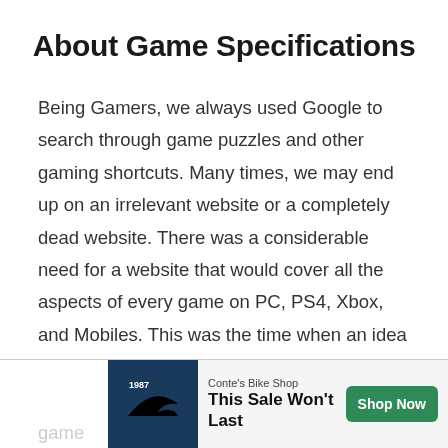About Game Specifications
Being Gamers, we always used Google to search through game puzzles and other gaming shortcuts. Many times, we may end up on an irrelevant website or a completely dead website. There was a considerable need for a website that would cover all the aspects of every game on PC, PS4, Xbox, and Mobiles. This was the time when an idea bumped into our heads to start our website. With a motivation to fulfill the information... game...
[Figure (other): Advertisement banner for Conte's Bike Shop with text 'This Sale Won't Last' and a 'Shop Now' green button, with a shark fin logo on dark blue background.]